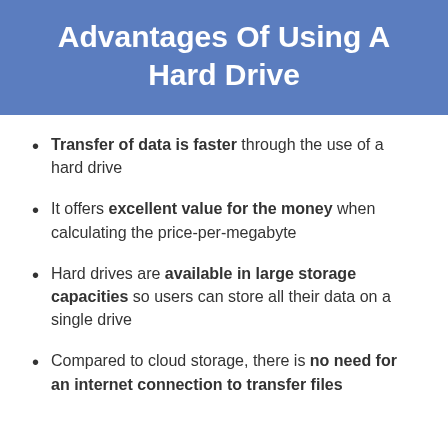Advantages Of Using A Hard Drive
Transfer of data is faster through the use of a hard drive
It offers excellent value for the money when calculating the price-per-megabyte
Hard drives are available in large storage capacities so users can store all their data on a single drive
Compared to cloud storage, there is no need for an internet connection to transfer files